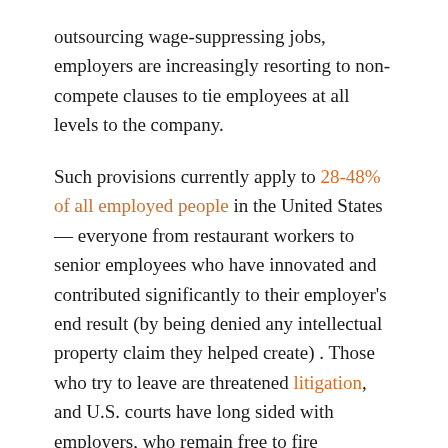outsourcing wage-suppressing jobs, employers are increasingly resorting to non-compete clauses to tie employees at all levels to the company.
Such provisions currently apply to 28-48% of all employed people in the United States — everyone from restaurant workers to senior employees who have innovated and contributed significantly to their employer's end result (by being denied any intellectual property claim they helped create) . Those who try to leave are threatened litigation, and U.S. courts have long sided with employers, who remain free to fire employees at will.
All of these asymmetric arrangements are like a hierarchy, not free markets that efficiently allocate resources, including human capital. Now that the Biden administration has turned its attention to these neo-feudal